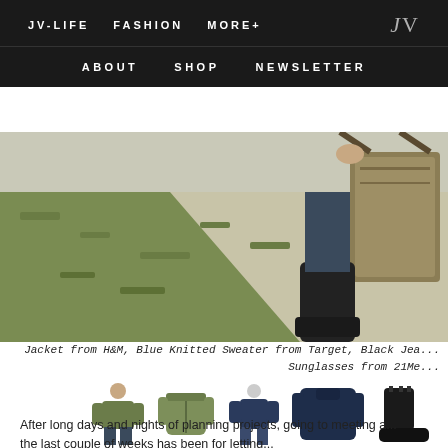JV-LIFE   FASHION   MORE+   JV
ABOUT   SHOP   NEWSLETTER
[Figure (photo): Outdoor photo showing a sidewalk and grass area, with a person holding a canvas bag and wearing boots, cropped to show lower body]
Jacket from H&M, Blue Knitted Sweater from Target, Black Jean... Sunglasses from 21Me...
[Figure (photo): Strip of product images: two olive/green jackets, two navy sweaters, and black boots]
After long days and nights of planning projects, going to meeting a... the last couple of weeks has been for letting...